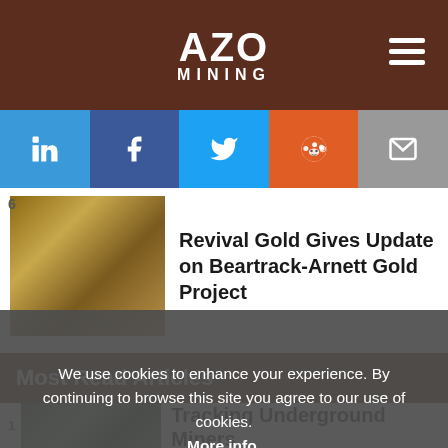AZO MINING
[Figure (screenshot): Social media share buttons: LinkedIn, Facebook, Twitter, Reddit, Email]
6
[Figure (photo): Gold nuggets/seeds spilling from a bowl on a wooden surface]
Revival Gold Gives Update on Beartrack-Arnett Gold Project
Most Read Articles
Tracking Underground Miners
We use cookies to enhance your experience. By continuing to browse this site you agree to our use of cookies. More info.
Accept
Cookie Settings